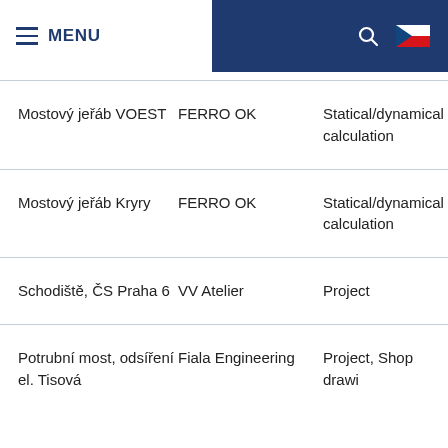MENU
| Project | Client | Type |
| --- | --- | --- |
| Mostový jeřáb VOEST | FERRO OK | Statical/dynamical calculation |
| Mostový jeřáb Kryry | FERRO OK | Statical/dynamical calculation |
| Schodiště, ČS Praha 6 | VV Atelier | Project |
| Potrubní most, odsíření el. Tisová | Fiala Engineering | Project, Shop drawi… |